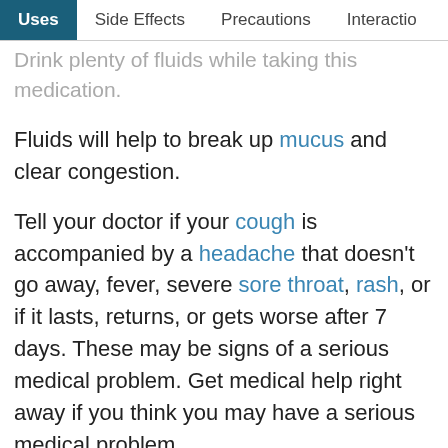Uses | Side Effects | Precautions | Interactions
Drink plenty of fluids while taking this medication. Fluids will help to break up mucus and clear congestion.
Tell your doctor if your cough is accompanied by a headache that doesn't go away, fever, severe sore throat, rash, or if it lasts, returns, or gets worse after 7 days. These may be signs of a serious medical problem. Get medical help right away if you think you may have a serious medical problem.
Related Links
ADVERTISEMENT